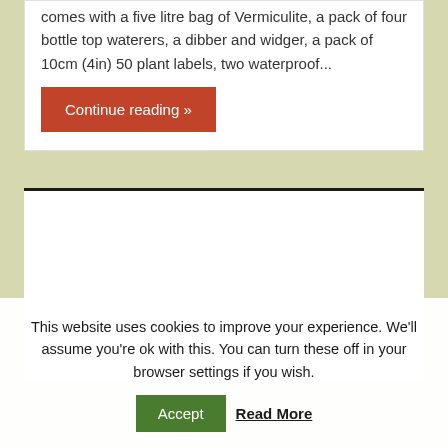comes with a five litre bag of Vermiculite, a pack of four bottle top waterers, a dibber and widger, a pack of 10cm (4in) 50 plant labels, two waterproof...
Continue reading »
[Figure (photo): Decorative garden image with large stylized letters overlaid, showing a naturalistic garden scene with plants and foliage]
This website uses cookies to improve your experience. We'll assume you're ok with this. You can turn these off in your browser settings if you wish.
Accept
Read More